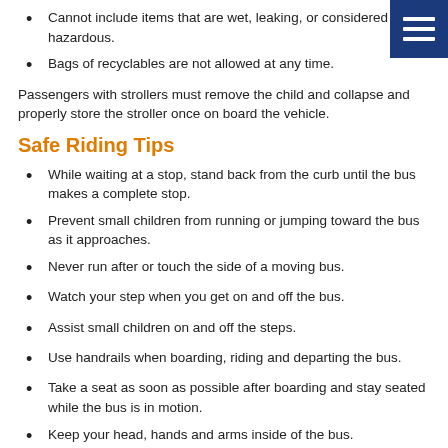Cannot include items that are wet, leaking, or considered hazardous.
Bags of recyclables are not allowed at any time.
Passengers with strollers must remove the child and collapse and properly store the stroller once on board the vehicle.
Safe Riding Tips
While waiting at a stop, stand back from the curb until the bus makes a complete stop.
Prevent small children from running or jumping toward the bus as it approaches.
Never run after or touch the side of a moving bus.
Watch your step when you get on and off the bus.
Assist small children on and off the steps.
Use handrails when boarding, riding and departing the bus.
Take a seat as soon as possible after boarding and stay seated while the bus is in motion.
Keep your head, hands and arms inside of the bus.
Do not leave children unattended or allow them to jump or stand on seats.